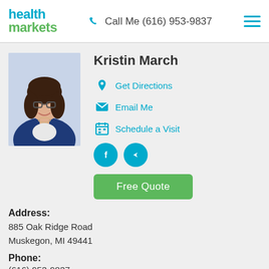health markets | Call Me (616) 953-9837
Kristin March
[Figure (photo): Professional headshot of Kristin March, a woman with dark hair and glasses wearing a blue blazer, smiling]
Get Directions
Email Me
Schedule a Visit
Free Quote
Address:
885 Oak Ridge Road
Muskegon, MI 49441
Phone:
(616) 953-9837